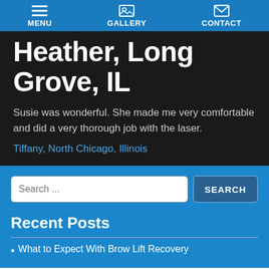MENU | GALLERY | CONTACT
Heather, Long Grove, IL
Susie was wonderful. She made me very comfortable and did a very thorough job with the laser.
Tiffany, North Chicago, Illinois
Recent Posts
What to Expect With Brow Lift Recovery